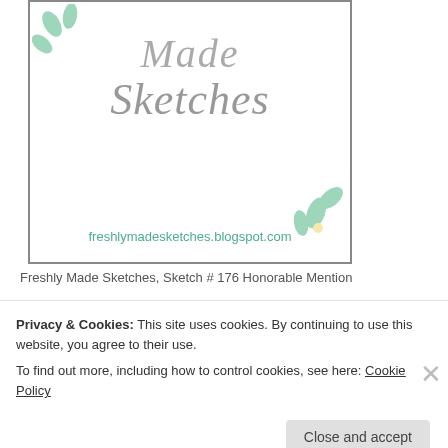[Figure (logo): Freshly Made Sketches blog logo with decorative mint/teal leaf illustrations, cursive 'Made Sketches' text in gray, and URL freshlymadesketches.blogspot.com in teal]
Freshly Made Sketches, Sketch # 176 Honorable Mention
[Figure (logo): Sketch blog logo with 'sketch_' text in purple bold font, pencil illustration, and star decorations on light background]
Privacy & Cookies: This site uses cookies. By continuing to use this website, you agree to their use.
To find out more, including how to control cookies, see here: Cookie Policy